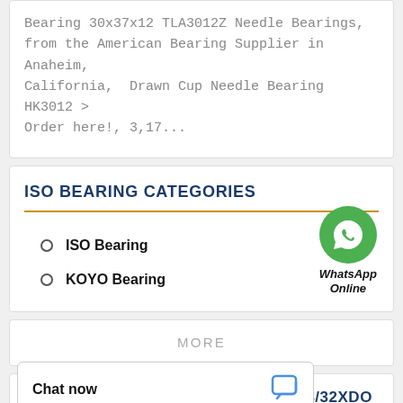Bearing 30x37x12 TLA3012Z Needle Bearings, from the American Bearing Supplier in Anaheim, California, Drawn Cup Needle Bearing HK3012 > Order here!, 3,17...
ISO BEARING CATEGORIES
ISO Bearing
KOYO Bearing
[Figure (logo): WhatsApp Online green circle icon with phone handset, labeled WhatsApp Online]
MORE
CUSTOMERS WHO VIEWED ISO GE18/32XDO
Chat now